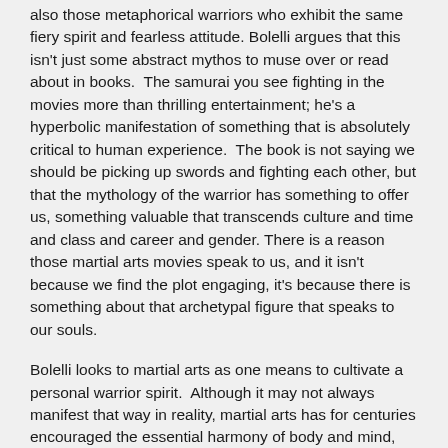also those metaphorical warriors who exhibit the same fiery spirit and fearless attitude. Bolelli argues that this isn't just some abstract mythos to muse over or read about in books.  The samurai you see fighting in the movies more than thrilling entertainment; he's a hyperbolic manifestation of something that is absolutely critical to human experience.  The book is not saying we should be picking up swords and fighting each other, but that the mythology of the warrior has something to offer us, something valuable that transcends culture and time and class and career and gender. There is a reason those martial arts movies speak to us, and it isn't because we find the plot engaging, it's because there is something about that archetypal figure that speaks to our souls.
Bolelli looks to martial arts as one means to cultivate a personal warrior spirit.  Although it may not always manifest that way in reality, martial arts has for centuries encouraged the essential harmony of body and mind, physical and mental.  There is a river of philosophical introspection and shaping one's character at the foundation of martial arts. But just as an academic who spends too much time divorced from reality in his studies [oops!], this abstract philosophy isn't enough by itself. Shaping the mind is nothing if you ignore the body. Martial arts has the ability to take that deep insight and ground it in the physical, and therein lies its uniqueness.